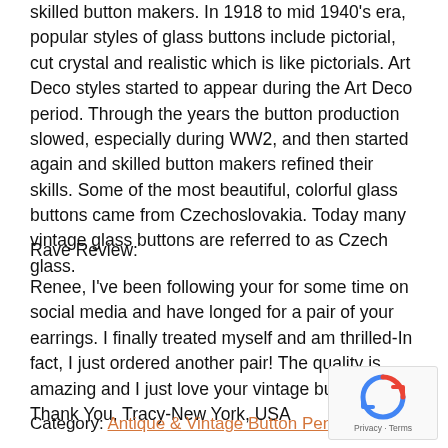skilled button makers. In 1918 to mid 1940's era, popular styles of glass buttons include pictorial, cut crystal and realistic which is like pictorials. Art Deco styles started to appear during the Art Deco period. Through the years the button production slowed, especially during WW2, and then started again and skilled button makers refined their skills. Some of the most beautiful, colorful glass buttons came from Czechoslovakia. Today many vintage glass buttons are referred to as Czech glass.
Rave Review:
Renee, I've been following your for some time on social media and have longed for a pair of your earrings. I finally treated myself and am thrilled-In fact, I just ordered another pair! The quality is amazing and I just love your vintage buttons. Thank You, Tracy-New York, USA
Category: Antique & Vintage Button Pendants